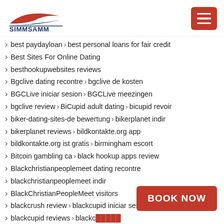SIMMSAMM logo and hamburger menu
best paydayloan › best personal loans for fair credit
Best Sites For Online Dating
besthookupwebsites reviews
Bgclive dating recontre › bgclive de kosten
BGCLive iniciar sesion › BGCLive meezingen
bgclive review › BiCupid adult dating › bicupid revoir
biker-dating-sites-de bewertung › bikerplanet indir
bikerplanet reviews › bildkontakte.org app
bildkontakte.org ist gratis › birmingham escort
Bitcoin gambling ca › black hookup apps review
Blackchristianpeoplemeet dating recontre
blackchristianpeoplemeet indir
BlackChristianPeopleMeet visitors
blackcrush review › blackcupid iniciar sesion
blackcupid reviews › blackc…
blackcupid visitors › blackc… s
BOOK NOW